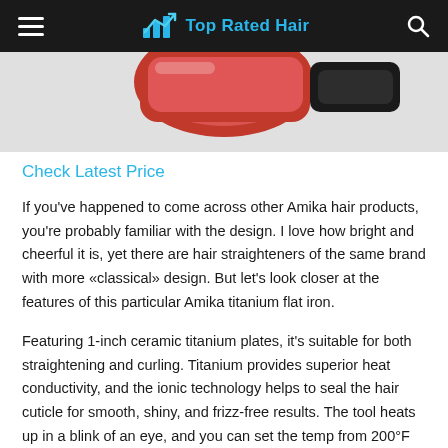Top Rated Hair
[Figure (photo): Partial view of a red and black Amika hair straightener product against a white background]
Check Latest Price
If you've happened to come across other Amika hair products, you're probably familiar with the design. I love how bright and cheerful it is, yet there are hair straighteners of the same brand with more «classical» design. But let's look closer at the features of this particular Amika titanium flat iron.
Featuring 1-inch ceramic titanium plates, it's suitable for both straightening and curling. Titanium provides superior heat conductivity, and the ionic technology helps to seal the hair cuticle for smooth, shiny, and frizz-free results. The tool heats up in a blink of an eye, and you can set the temp from 200°F